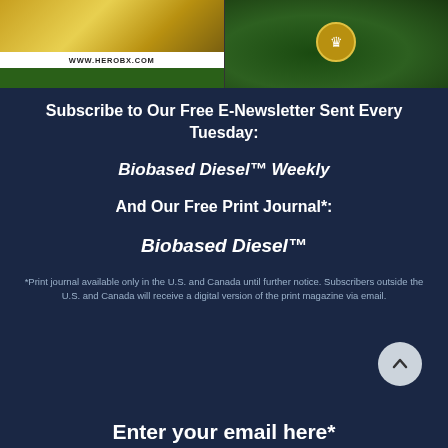[Figure (photo): Left: HeroBX advertisement with gold splash and green bar, URL www.herobx.com. Right: Crown biofuel brand image with green background and fuel nozzle.]
Subscribe to Our Free E-Newsletter Sent Every Tuesday:
Biobased Diesel™ Weekly
And Our Free Print Journal*:
Biobased Diesel™
*Print journal available only in the U.S. and Canada until further notice. Subscribers outside the U.S. and Canada will receive a digital version of the print magazine via email.
Enter your email here*